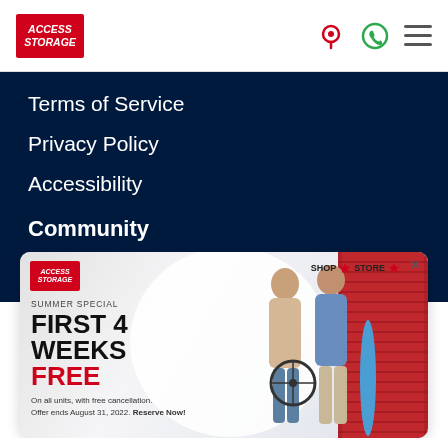[Figure (logo): Access Storage logo in red box with white italic text]
Terms of Service
Privacy Policy
Accessibility
Community
[Figure (infographic): Access Storage summer special advertisement banner. Shows 'SUMMER SPECIAL / FIRST 4 WEEKS FREE' promotion with two people in a storage corridor with a bike and surfboard. Text: On all units, with free cancellation. Offer ends August 31, 2022. Reserve Now!]